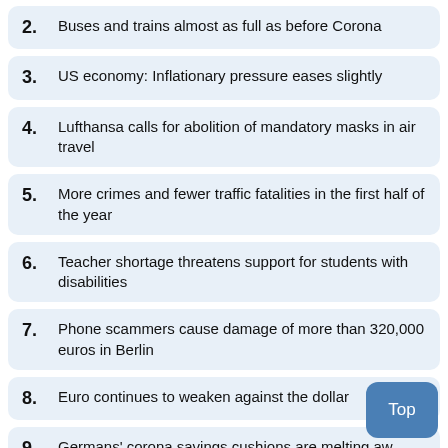2. Buses and trains almost as full as before Corona
3. US economy: Inflationary pressure eases slightly
4. Lufthansa calls for abolition of mandatory masks in air travel
5. More crimes and fewer traffic fatalities in the first half of the year
6. Teacher shortage threatens support for students with disabilities
7. Phone scammers cause damage of more than 320,000 euros in Berlin
8. Euro continues to weaken against the dollar
9. Germans' corona savings cushions are melting aw...